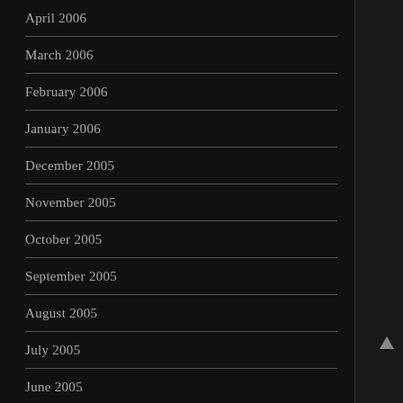April 2006
March 2006
February 2006
January 2006
December 2005
November 2005
October 2005
September 2005
August 2005
July 2005
June 2005
May 2005